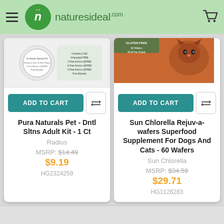naturesideal.com
[Figure (screenshot): Product image for Pura Naturals Pet dental kit - partially visible product packaging]
ADD TO CART
Pura Naturals Pet - Dntl Sltns Adult Kit - 1 Ct
Radius
MSRP: $14.49
$9.19
HG2324259
[Figure (screenshot): Product image for Sun Chlorella wafers - cat on orange background]
ADD TO CART
Sun Chlorella Rejuv-a-wafers Superfood Supplement For Dogs And Cats - 60 Wafers
Sun Chlorella
MSRP: $34.59
$29.71
HG1126283